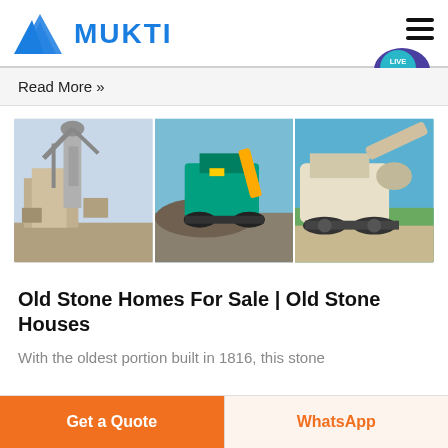[Figure (logo): Mukti logo with blue triangular mountain icon and blue bold text MUKTI]
[Figure (photo): Three-panel image strip showing industrial stone crushing and milling equipment on outdoor sites]
Old Stone Homes For Sale | Old Stone Houses
With the oldest portion built in 1816, this stone